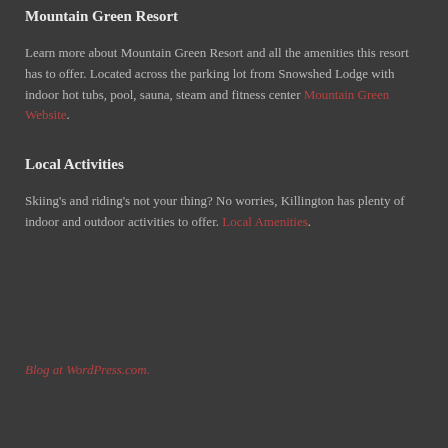Mountain Green Resort
Learn more about Mountain Green Resort and all the amenities this resort has to offer. Located across the parking lot from Snowshed Lodge with indoor hot tubs, pool, sauna, steam and fitness center Mountain Green Website.
Local Activities
Skiing's and riding's not your thing? No worries, Killington has plenty of indoor and outdoor activities to offer. Local Amenities.
Blog at WordPress.com.